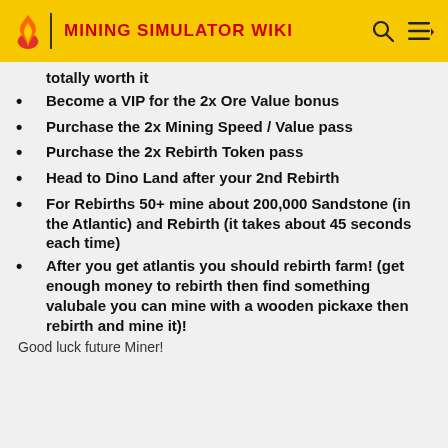MINING SIMULATOR WIKI
totally worth it
Become a VIP for the 2x Ore Value bonus
Purchase the 2x Mining Speed / Value pass
Purchase the 2x Rebirth Token pass
Head to Dino Land after your 2nd Rebirth
For Rebirths 50+ mine about 200,000 Sandstone (in the Atlantic) and Rebirth (it takes about 45 seconds each time)
After you get atlantis you should rebirth farm! (get enough money to rebirth then find something valubale you can mine with a wooden pickaxe then rebirth and mine it)!
Good luck future Miner!